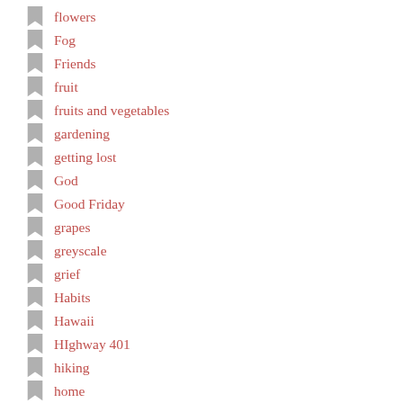flowers
Fog
Friends
fruit
fruits and vegetables
gardening
getting lost
God
Good Friday
grapes
greyscale
grief
Habits
Hawaii
HIghway 401
hiking
home
hope